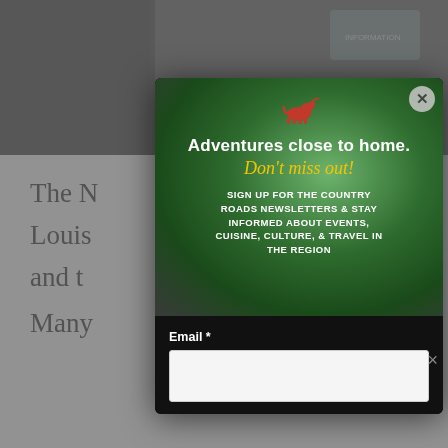[Figure (screenshot): Website screenshot showing a popup modal overlay on a travel/lifestyle website. The background shows a partial nature photo at the top and partial article text below. The modal is a newsletter signup box for 'Country Roads' magazine with dark background, green blurred nature image, horse icon, headline 'Adventures close to home. Don't miss out!', newsletter signup call to action, and an email input field.]
Adventures close to home.
Don't miss out!
SIGN UP FOR THE COUNTRY ROADS NEWSLETTERS & STAY INFORMED ABOUT EVENTS, CUISINE, CULTURE, & TRAVEL IN THE REGION
Email *
The M... ...n
Louis... ...iles,
and t... ...life.
Many...